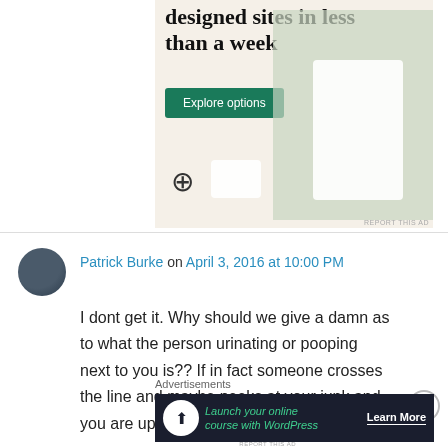[Figure (screenshot): WordPress advertisement showing 'designed sites in less than a week' with an Explore options button and website mockup images]
Patrick Burke on April 3, 2016 at 10:00 PM
I dont get it. Why should we give a damn as to what the person urinating or pooping next to you is?? If in fact someone crosses the line and maybe peeks at your junk and you are upset –
Advertisements
[Figure (screenshot): WordPress advertisement: Launch your online course with WordPress – Learn More button]